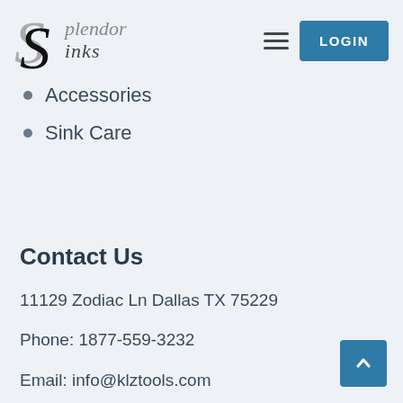[Figure (logo): Splendor Sinks logo with stylized S in gray and black, italic serif text]
Accessories
Sink Care
Contact Us
11129 Zodiac Ln Dallas TX 75229
Phone: 1877-559-3232
Email: info@klztools.com